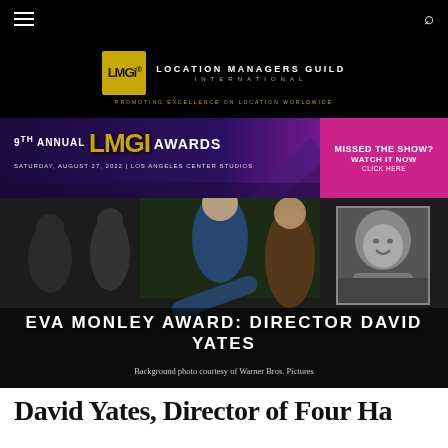Location Managers Guild International — Navigation bar
[Figure (logo): LMGI Location Managers Guild International logo with gold badge and tagline 'Promoting Excellence on Location Worldwide']
[Figure (infographic): 9th Annual LMGI Awards banner — Saturday, August 27, 2022 | Los Angeles Center Studios — Missed the Show? Watch It Now Click Here]
[Figure (photo): Film set photo featuring director David Yates with actors, with inset black-and-white portrait]
EVA MONLEY AWARD: DIRECTOR DAVID YATES
Background photo courtesy of Warner Bros. Pictures
David Yates, Director of Four Ha…